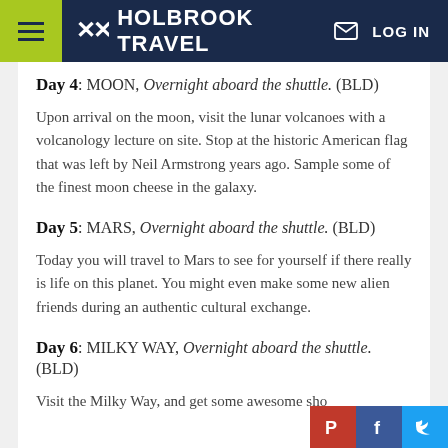HOLBROOK TRAVEL
Day 4: MOON, Overnight aboard the shuttle. (BLD)
Upon arrival on the moon, visit the lunar volcanoes with a volcanology lecture on site. Stop at the historic American flag that was left by Neil Armstrong years ago. Sample some of the finest moon cheese in the galaxy.
Day 5: MARS, Overnight aboard the shuttle. (BLD)
Today you will travel to Mars to see for yourself if there really is life on this planet. You might even make some new alien friends during an authentic cultural exchange.
Day 6: MILKY WAY, Overnight aboard the shuttle. (BLD)
Visit the Milky Way, and get some awesome sho...